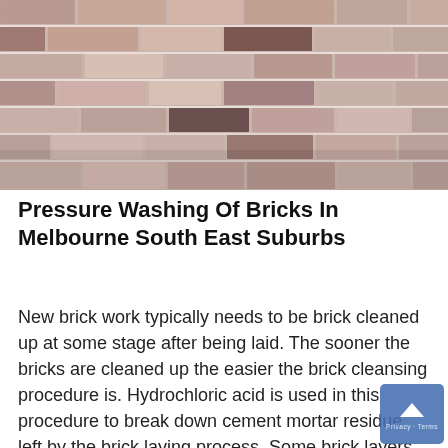[Figure (photo): Close-up photograph of a brick wall showing rows of old, weathered bricks in shades of pink, grey, brown and dark red with white mortar joints.]
Pressure Washing Of Bricks In Melbourne South East Suburbs
New brick work typically needs to be brick cleaned up at some stage after being laid. The sooner the bricks are cleaned up the easier the brick cleansing procedure is. Hydrochloric acid is used in this procedure to break down cement mortar residue left by the brick laying process. Some brick layers are messy and leave big quantities of cement all over the new bricks and its the brick cleansing procedure that...